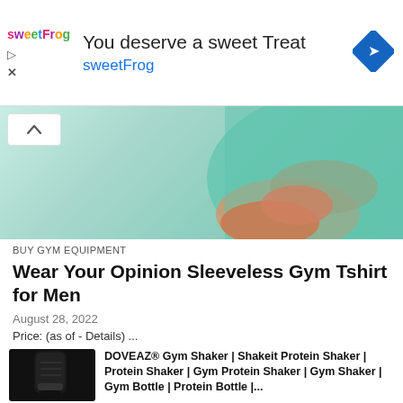[Figure (screenshot): sweetFrog advertisement banner with logo, tagline 'You deserve a sweet Treat', brand name 'sweetFrog' in blue, and a blue diamond navigation icon]
[Figure (photo): Cropped photo of a person wearing a teal/mint sleeveless gym t-shirt, showing torso and arms]
BUY GYM EQUIPMENT
Wear Your Opinion Sleeveless Gym Tshirt for Men
August 28, 2022
Price: (as of - Details) ...
[Figure (photo): Black gym shaker/protein shaker bottle]
DOVEAZ® Gym Shaker | Shakeit Protein Shaker | Protein Shaker | Gym Protein Shaker | Gym Shaker | Gym Bottle | Protein Bottle |...